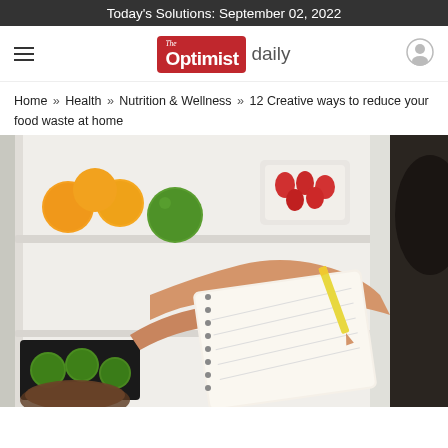Today's Solutions: September 02, 2022
[Figure (logo): The Optimist Daily logo with hamburger menu and user icon]
Home » Health » Nutrition & Wellness » 12 Creative ways to reduce your food waste at home
[Figure (photo): Person writing in a spiral notebook while looking at an open refrigerator stocked with oranges, limes, strawberries in a container, and other produce]